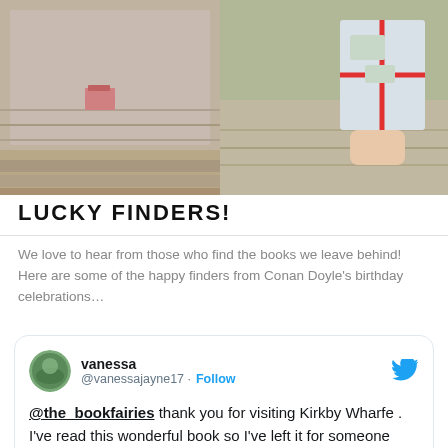[Figure (photo): Two photos side by side: left shows a small book or item placed on a stone wall outdoors; right shows a hand holding a wrapped item with a red bow against a stone wall background.]
LUCKY FINDERS!
We love to hear from those who find the books we leave behind! Here are some of the happy finders from Conan Doyle's birthday celebrations...
@the_bookfairies thank you for visiting Kirkby Wharfe . I've read this wonderful book so I've left it for someone else to enjoy . #bookfairies #books #reading #BookTwitter